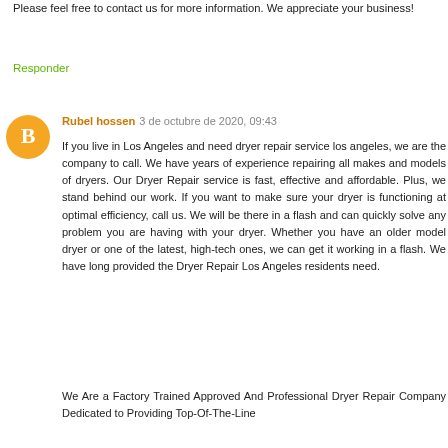Please feel free to contact us for more information. We appreciate your business!
Responder
Rubel hossen 3 de octubre de 2020, 09:43
If you live in Los Angeles and need dryer repair service los angeles, we are the company to call. We have years of experience repairing all makes and models of dryers. Our Dryer Repair service is fast, effective and affordable. Plus, we stand behind our work. If you want to make sure your dryer is functioning at optimal efficiency, call us. We will be there in a flash and can quickly solve any problem you are having with your dryer. Whether you have an older model dryer or one of the latest, high-tech ones, we can get it working in a flash. We have long provided the Dryer Repair Los Angeles residents need.
We Are a Factory Trained Approved And Professional Dryer Repair Company Dedicated to Providing Top-Of-The-Line